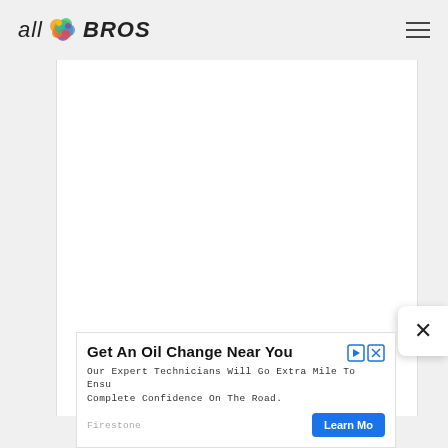all BROS
[Figure (screenshot): White content area box on light grey background, main content area of website]
[Figure (infographic): Close button (X) white rounded rectangle on right side]
[Figure (infographic): Advertisement banner: Get An Oil Change Near You - Firestone ad with Learn More button]